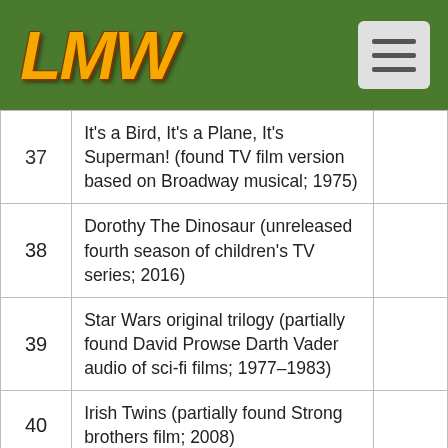LMW
| # | Title |  |
| --- | --- | --- |
| 37 | It's a Bird, It's a Plane, It's Superman! (found TV film version based on Broadway musical; 1975) |  |
| 38 | Dorothy The Dinosaur (unreleased fourth season of children's TV series; 2016) |  |
| 39 | Star Wars original trilogy (partially found David Prowse Darth Vader audio of sci-fi films; 1977–1983) |  |
| 40 | Irish Twins (partially found Strong brothers film; 2008) |  |
| 41 | The Price Is Right (found unaired pilot of NBC game show; 1956) |  |
|  | Bundt Cake (lost unreleased Beastie… |  |